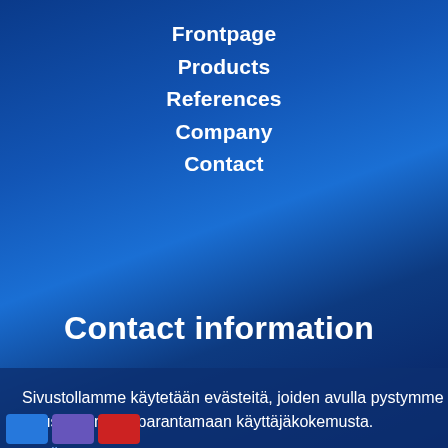Frontpage
Products
References
Company
Contact
Contact information
Sivustollamme käytetään evästeitä, joiden avulla pystymme kehittämään sivustoamme ja parantamaan käyttäjäkokemusta.
Lue lisää »
Selvä